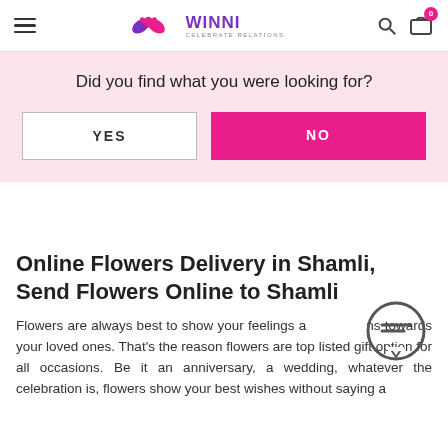WINNI CELEBRATE RELATIONS
Did you find what you were looking for?
YES
NO
Online Flowers Delivery in Shamli, Send Flowers Online to Shamli
Flowers are always best to show your feelings and emotions towards your loved ones. That's the reason flowers are top listed gift option for all occasions. Be it an anniversary, a wedding, whatever the celebration is, flowers show your best wishes without saying a